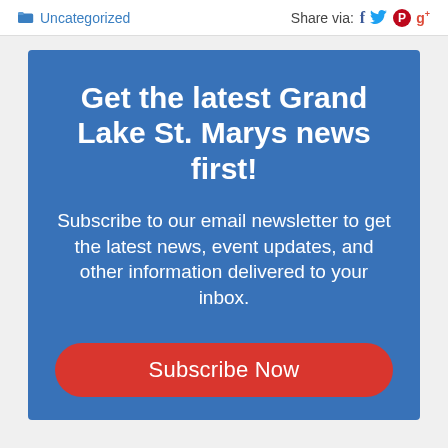Uncategorized  Share via: f tw p g+
Get the latest Grand Lake St. Marys news first!
Subscribe to our email newsletter to get the latest news, event updates, and other information delivered to your inbox.
Subscribe Now